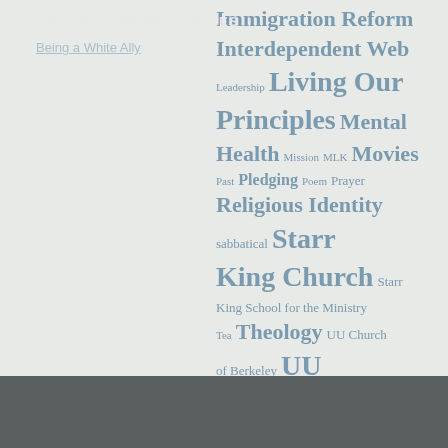[Figure (infographic): Tag cloud with various topics in different font sizes, rendered in steel-blue color on a light gray background. Topics include: Immigration Reform, Interdependent Web, Leadership, Living Our Principles, Mental Health, Mission, MLK, Movies, Past, Pledging, Poem, Prayer, Religious Identity, sabbatical, Starr King Church, Starr King School for the Ministry, Tea, Theology, UU Church of Berkeley, UU Congregation of Marin, UU History, Voluntary Simplicity]
ANTI-RACISM RESOURCES
Being a White Ally